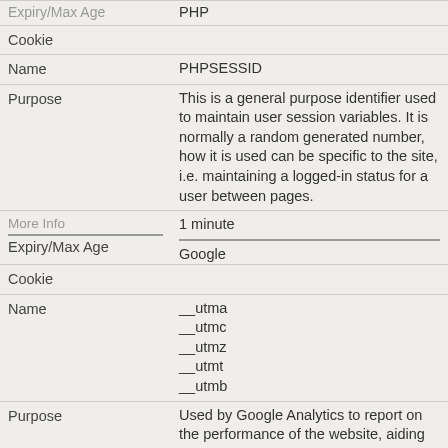| Field | Value |
| --- | --- |
| Expiry/Max Age | PHP |
| Cookie |  |
| Name | PHPSESSID |
| Purpose | This is a general purpose identifier used to maintain user session variables. It is normally a random generated number, how it is used can be specific to the site, i.e. maintaining a logged-in status for a user between pages. |
| Expiry/Max Age | 1 minute |
| More Info / Expiry/Max Age | Google |
| Cookie |  |
| Name | __utma
__utmc
__utmz
__utmt
__utmb |
| Purpose | Used by Google Analytics to report on the performance of the website, aiding campaign optimisation and usability improvements. |
| More Info | This is the link to the Google Opt-Out tool:
https://tools.google.com/dlpage/ga
See this link for more information
https://support.google.com/analytic |